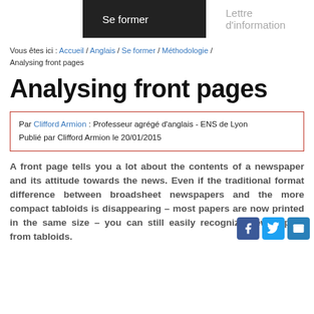Se former | Lettre d'information
Vous êtes ici : Accueil / Anglais / Se former / Méthodologie / Analysing front pages
Analysing front pages
Par Clifford Armion : Professeur agrégé d'anglais - ENS de Lyon
Publié par Clifford Armion le 20/01/2015
A front page tells you a lot about the contents of a newspaper and its attitude towards the news. Even if the traditional format difference between broadsheet newspapers and the more compact tabloids is disappearing – most papers are now printed in the same size – you can still easily recognize newspapers from tabloids.